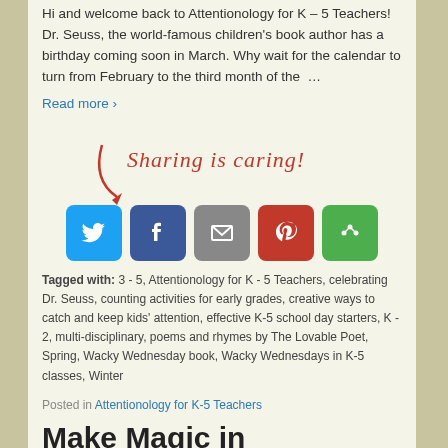Hi and welcome back to Attentionology for K - 5 Teachers! Dr. Seuss, the world-famous children's book author has a birthday coming soon in March. Why wait for the calendar to turn from February to the third month of the …
Read more ›
[Figure (infographic): Sharing is caring! graphic with a handwritten-style red cursive title and a red arrow pointing down to five social sharing icon buttons: Twitter (blue bird), Facebook (blue f), Email (grey envelope), Pinterest (red P), and More (green share icon).]
Tagged with: 3 - 5, Attentionology for K - 5 Teachers, celebrating Dr. Seuss, counting activities for early grades, creative ways to catch and keep kids' attention, effective K-5 school day starters, K - 2, multi-disciplinary, poems and rhymes by The Lovable Poet, Spring, Wacky Wednesday book, Wacky Wednesdays in K-5 classes, Winter
Posted in Attentionology for K-5 Teachers
Make Magic in